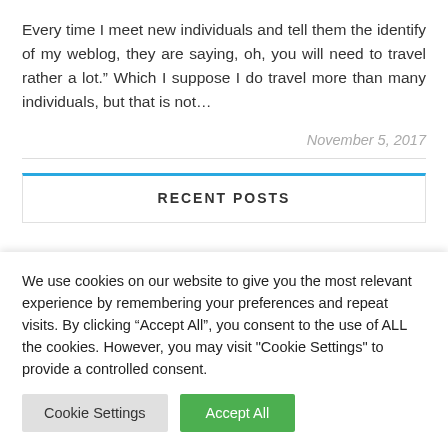Every time I meet new individuals and tell them the identify of my weblog, they are saying, oh, you will need to travel rather a lot.” Which I suppose I do travel more than many individuals, but that is not…
November 5, 2017
RECENT POSTS
We use cookies on our website to give you the most relevant experience by remembering your preferences and repeat visits. By clicking “Accept All”, you consent to the use of ALL the cookies. However, you may visit "Cookie Settings" to provide a controlled consent.